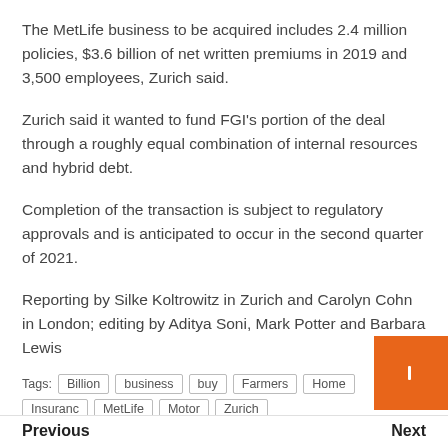The MetLife business to be acquired includes 2.4 million policies, $3.6 billion of net written premiums in 2019 and 3,500 employees, Zurich said.
Zurich said it wanted to fund FGI's portion of the deal through a roughly equal combination of internal resources and hybrid debt.
Completion of the transaction is subject to regulatory approvals and is anticipated to occur in the second quarter of 2021.
Reporting by Silke Koltrowitz in Zurich and Carolyn Cohn in London; editing by Aditya Soni, Mark Potter and Barbara Lewis
Tags: Billion  business  buy  Farmers  Home  Insurance  MetLife  Motor  Zurich
Previous | Next